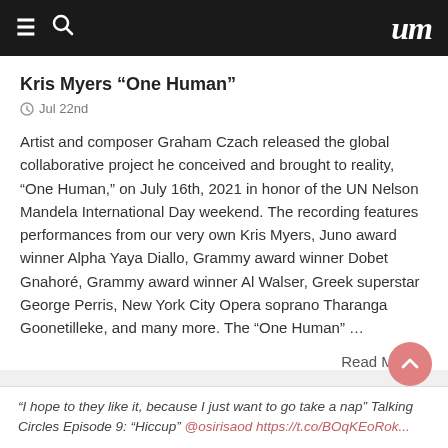≡ 🔍  um
Kris Myers “One Human”
Jul 22nd
Artist and composer Graham Czach released the global collaborative project he conceived and brought to reality, “One Human,” on July 16th, 2021 in honor of the UN Nelson Mandela International Day weekend. The recording features performances from our very own Kris Myers, Juno award winner Alpha Yaya Diallo, Grammy award winner Dobet Gnahoré, Grammy award winner Al Walser, Greek superstar George Perris, New York City Opera soprano Tharanga Goonetilleke, and many more. The “One Human” …
Read More »
UM on Twitter
“I hope to they like it, because I just want to go take a nap” Talking Circles Episode 9: “Hiccup” @osirisaod https://t.co/BOqKEoRok...